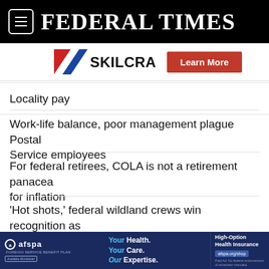FEDERAL TIMES
[Figure (logo): SKILCRAFT logo with red, white, and blue diagonal stripes, alongside a red 'Learn More' button]
Locality pay
Work-life balance, poor management plague Postal Service employees
For federal retirees, COLA is not a retirement panacea for inflation
'Hot shots,' federal wildland crews win recognition as firefighters
[Figure (advertisement): AFSPA advertisement: 'Your Health. Your Care. Our Expertise.' with High-Option Health Insurance and afspa.org/shop link]